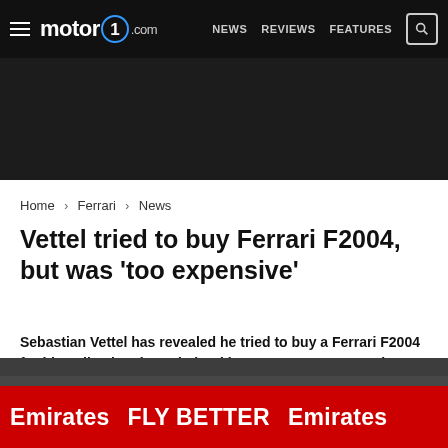motor1.com  NEWS  REVIEWS  FEATURES
[Figure (other): Dark advertisement banner placeholder]
Home > Ferrari > News
Vettel tried to buy Ferrari F2004, but was 'too expensive'
Sebastian Vettel has revealed he tried to buy a Ferrari F2004 for his collection, but admitted it was "way too expensive".
[Figure (photo): Photo showing Emirates FLY BETTER advertising banners at a Formula 1 racing circuit, red trackside hoardings visible]